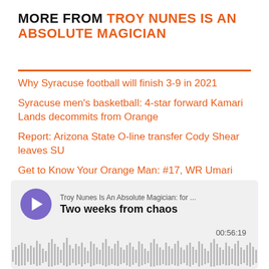MORE FROM TROY NUNES IS AN ABSOLUTE MAGICIAN
Why Syracuse football will finish 3-9 in 2021
Syracuse men's basketball: 4-star forward Kamari Lands decommits from Orange
Report: Arizona State O-line transfer Cody Shear leaves SU
Get to Know Your Orange Man: #17, WR Umari Hatcher
Get to Know Your Orange Man: #21, WR Kendall Long
[Figure (other): Podcast player widget showing 'Troy Nunes Is An Absolute Magician: for ...' with episode title 'Two weeks from chaos', duration 00:56:19, with audio waveform visualization]